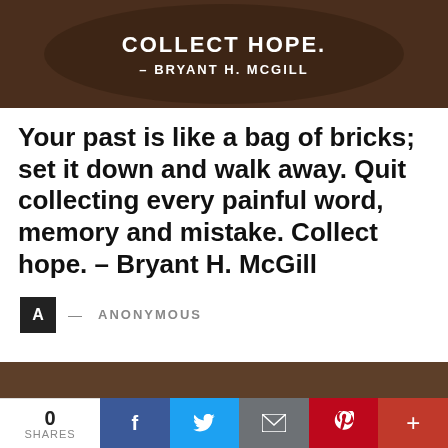[Figure (photo): Banner image with dark background showing text 'COLLECT HOPE.' and attribution '- BRYANT H. MCGILL' in white capital letters]
Your past is like a bag of bricks; set it down and walk away. Quit collecting every painful word, memory and mistake. Collect hope. – Bryant H. McGill
A — ANONYMOUS
[Figure (photo): Partial image visible at bottom of page]
0 SHARES | Facebook | Twitter | Email | Pinterest | Plus